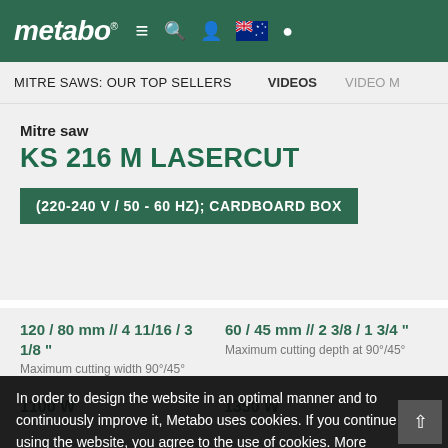metabo
MITRE SAWS: OUR TOP SELLERS   VIDEOS   VIDEO M
Mitre saw
KS 216 M LASERCUT
(220-240 V / 50 - 60 HZ); CARDBOARD BOX
120 / 80 mm // 4 11/16 / 3 1/8 "
Maximum cutting width 90°/45°
60 / 45 mm // 2 3/8 / 1 3/4 "
Maximum cutting depth at 90°/45°
1100 W
1350 W
In order to design the website in an optimal manner and to continuously improve it, Metabo uses cookies. If you continue using the website, you agree to the use of cookies. More information
Close
Shop Online